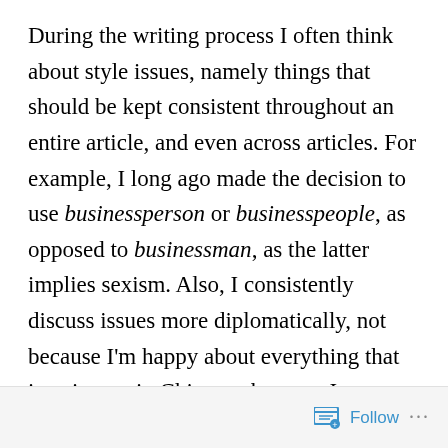During the writing process I often think about style issues, namely things that should be kept consistent throughout an entire article, and even across articles. For example, I long ago made the decision to use businessperson or businesspeople, as opposed to businessman, as the latter implies sexism. Also, I consistently discuss issues more diplomatically, not because I'm happy about everything that is going on in China, or because I agree with or accept every part of Chinese culture and society. Instead, I believe that cultural barriers are overcome through reflection and understanding, not by looking for points to disagree on.

So with this mindset, I regularly use the term Westerner in